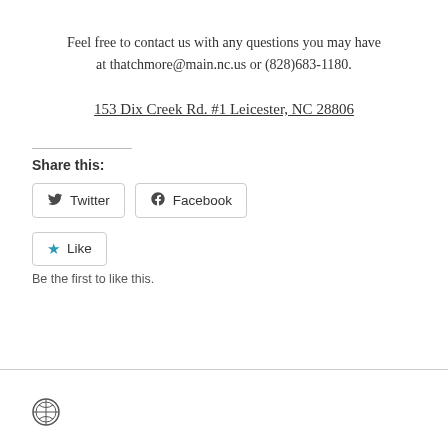Feel free to contact us with any questions you may have at thatchmore@main.nc.us or (828)683-1180.
153 Dix Creek Rd. #1 Leicester, NC 28806
Share this:
Twitter
Facebook
Like
Be the first to like this.
[Figure (logo): WordPress logo icon]